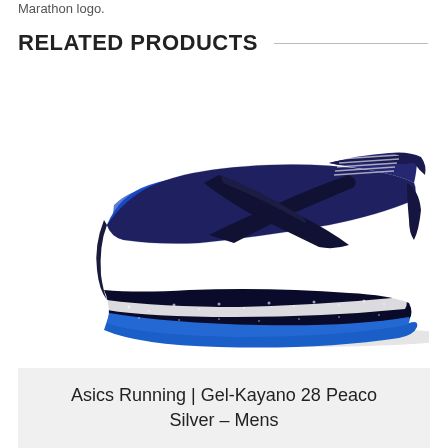Marathon logo.
RELATED PRODUCTS
[Figure (photo): Asics Gel-Kayano 28 running shoe in Peacoat/Silver colorway for men, shown from the lateral side. The shoe features a navy/dark blue mesh upper with the iconic ASICS stripe logo in dark/black, a speckled midsole with blue and black coloring, and a bright blue outsole.]
Asics Running | Gel-Kayano 28 Peaco Silver – Mens